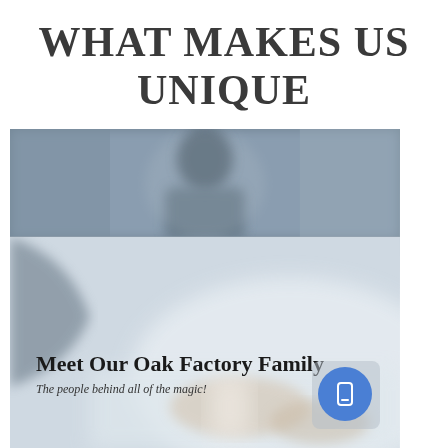WHAT MAKES US UNIQUE
[Figure (photo): Blurred black and white photo of a person in the upper half, transitioning to a lighter blurred photo of hands in the lower half. Contains overlay text 'Meet Our Oak Factory Family' and subtitle 'The people behind all of the magic!']
Meet Our Oak Factory Family
The people behind all of the magic!